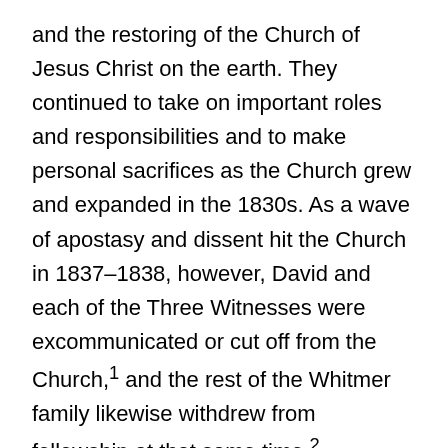and the restoring of the Church of Jesus Christ on the earth. They continued to take on important roles and responsibilities and to make personal sacrifices as the Church grew and expanded in the 1830s. As a wave of apostasy and dissent hit the Church in 1837–1838, however, David and each of the Three Witnesses were excommunicated or cut off from the Church,¹ and the rest of the Whitmer family likewise withdrew from fellowship at that same time.²
Over the next several decades, most of the Whitmer clan stayed in northwestern Missouri. They established themselves as important citizens and were respected in their communities.³ David